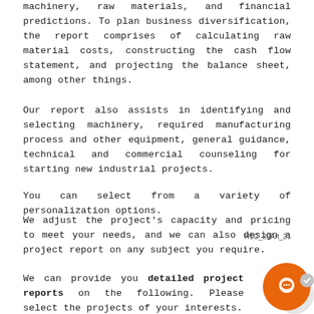machinery, raw materials, and financial predictions. To plan business diversification, the report comprises of calculating raw material costs, constructing the cash flow statement, and projecting the balance sheet, among other things.
Our report also assists in identifying and selecting machinery, required manufacturing process and other equipment, general guidance, technical and commercial counseling for starting new industrial projects.
You can select from a variety of personalization options.
We adjust the project's capacity and pricing to meet your needs, and we can also design a project report on any subject you require.
H1C_20Art_21
We can provide you detailed project reports on the following. Please select the projects of your interests.